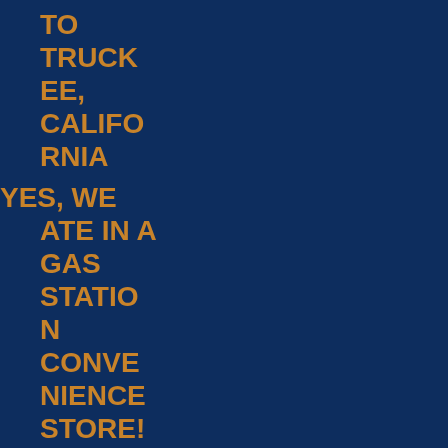TO TRUCKEE, CALIFORNIA
YES, WE ATE IN A GAS STATION CONVENIENCE STORE!
LOVELY DAYS IN LONE PINE, CALIFORNIA
WE SAW